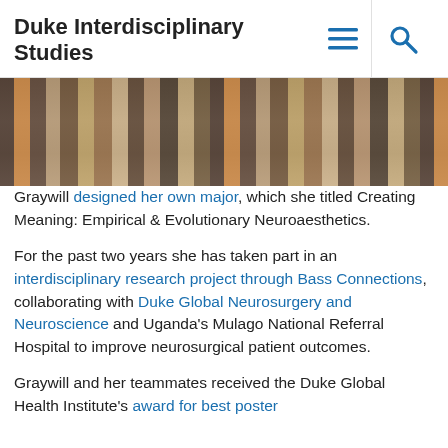Duke Interdisciplinary Studies
[Figure (photo): Group photo showing people in colorful clothing, cropped to show torsos/lower bodies only]
Graywill designed her own major, which she titled Creating Meaning: Empirical & Evolutionary Neuroaesthetics.
For the past two years she has taken part in an interdisciplinary research project through Bass Connections, collaborating with Duke Global Neurosurgery and Neuroscience and Uganda's Mulago National Referral Hospital to improve neurosurgical patient outcomes.
Graywill and her teammates received the Duke Global Health Institute's award for best poster